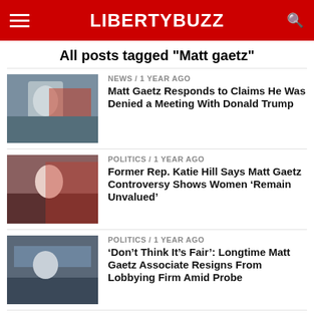LIBERTYBUZZ
All posts tagged "Matt gaetz"
NEWS / 1 year ago
Matt Gaetz Responds to Claims He Was Denied a Meeting With Donald Trump
POLITICS / 1 year ago
Former Rep. Katie Hill Says Matt Gaetz Controversy Shows Women ‘Remain Unvalued’
POLITICS / 1 year ago
‘Don’t Think It’s Fair’: Longtime Matt Gaetz Associate Resigns From Lobbying Firm Amid Probe
U.S. / 1 year ago
Liz Cheney Calls Matt Gaetz Sexual Misconduct Charges ‘Sickening’